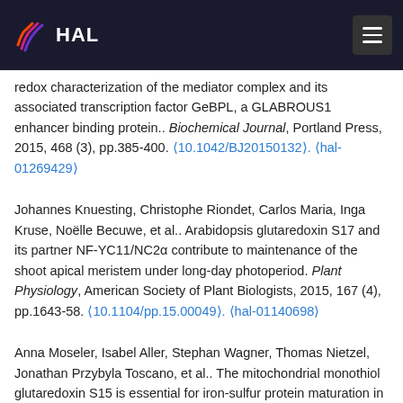HAL
redox characterization of the mediator complex and its associated transcription factor GeBPL, a GLABROUS1 enhancer binding protein.. Biochemical Journal, Portland Press, 2015, 468 (3), pp.385-400. ⟨10.1042/BJ20150132⟩. ⟨hal-01269429⟩
Johannes Knuesting, Christophe Riondet, Carlos Maria, Inga Kruse, Noëlle Becuwe, et al.. Arabidopsis glutaredoxin S17 and its partner NF-YC11/NC2α contribute to maintenance of the shoot apical meristem under long-day photoperiod. Plant Physiology, American Society of Plant Biologists, 2015, 167 (4), pp.1643-58. ⟨10.1104/pp.15.00049⟩. ⟨hal-01140698⟩
Anna Moseler, Isabel Aller, Stephan Wagner, Thomas Nietzel, Jonathan Przybyla Toscano, et al.. The mitochondrial monothiol glutaredoxin S15 is essential for iron-sulfur protein maturation in Arabidopsis thaliana. Proceedings of the National Academy of Sciences of the United States of America, National Academy of Sciences,